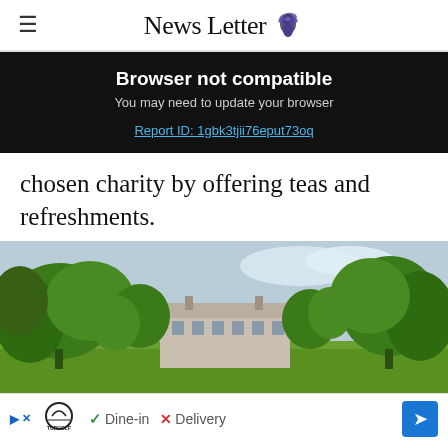News Letter
Browser not compatible
You may need to update your browser
Report ID: 1gbk3tjii76eput73oq
chosen charity by offering teas and refreshments.
[Figure (photo): Outdoor photo of a Georgian manor house surrounded by mature green trees on a lawn, viewed from a distance in mid-spring]
[Figure (other): Advertisement bar: Topgolf logo, Dine-in checkmark, Delivery X, blue arrow navigation icon]